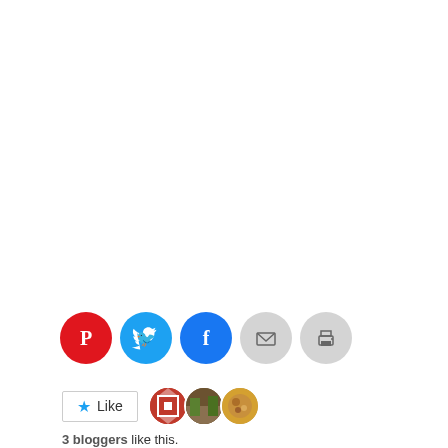[Figure (other): Row of social sharing icon buttons: Pinterest (red), Twitter (blue), Facebook (blue), Email (gray), Print (gray)]
[Figure (other): Like button with star icon and 3 blogger avatars]
3 bloggers like this.
8 essential tips for weight
Veggie Spaghetti – with
Privacy & Cookies: This site uses cookies. By continuing to use this website, you agree to their use.
To find out more, including how to control cookies, see here: Cookie Policy
Close and accept